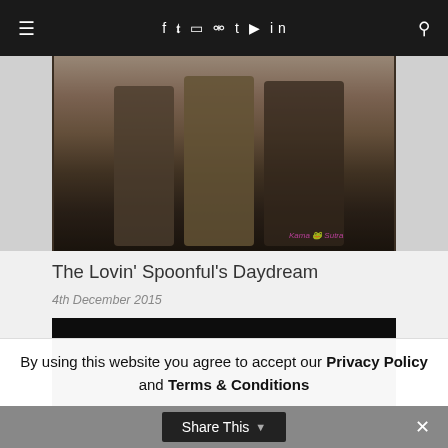≡  f  🐦  📷  𝔭  t  ▶  in  🔍
[Figure (photo): Group of people wearing patterned coats walking outdoors on wet pavement, photo with vintage filter. Watermark reading 'Kama Sutra' with frog icon in bottom right.]
The Lovin' Spoonful's Daydream
4th December 2015
[Figure (photo): Dark, nearly black textured photograph]
By using this website you agree to accept our Privacy Policy and Terms & Conditions
Share This  ∨  ×